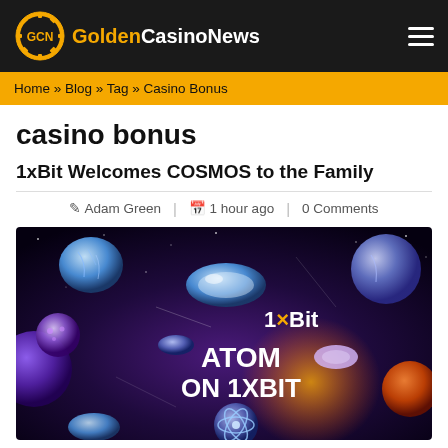Golden Casino News
Home » Blog » Tag » Casino Bonus
casino bonus
1xBit Welcomes COSMOS to the Family
Adam Green | 1 hour ago | 0 Comments
[Figure (illustration): 1xBit ATOM ON 1XBIT promotional banner with cryptocurrency coins and planets on a dark space background]